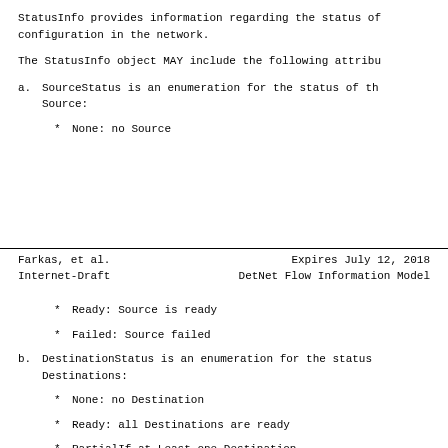StatusInfo provides information regarding the status of configuration in the network.
The StatusInfo object MAY include the following attribu
a.  SourceStatus is an enumeration for the status of th Source:
*   None: no Source
Farkas, et al.          Expires July 12, 2018
Internet-Draft       DetNet Flow Information Model
*   Ready: Source is ready
*   Failed: Source failed
b.  DestinationStatus is an enumeration for the status Destinations:
*   None: no Destination
*   Ready: all Destinations are ready
*   PartialIf at Least one Destination